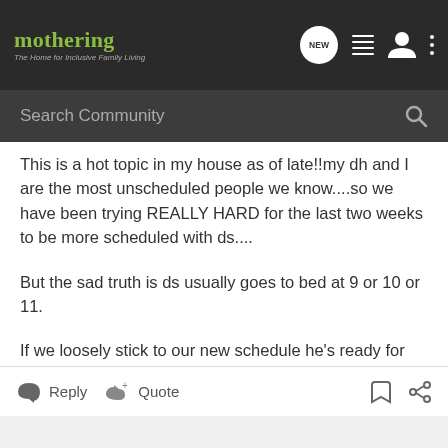mothering – The Home for Inclusive Family Living
This is a hot topic in my house as of late!!my dh and I are the most unscheduled people we know....so we have been trying REALLY HARD for the last two weeks to be more scheduled with ds....
But the sad truth is ds usually goes to bed at 9 or 10 or 11.
If we loosely stick to our new schedule he's ready for bed at 9.
Reply  Quote